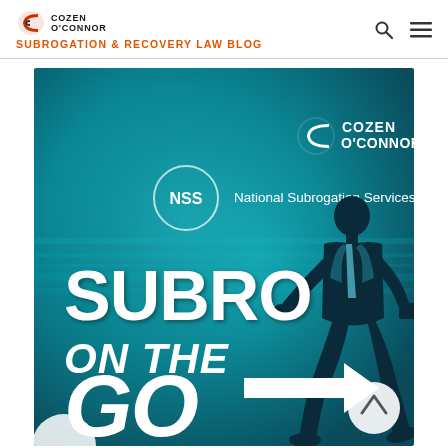Cozen O'Connor — Subrogation & Recovery Law Blog
[Figure (illustration): Promotional image for 'Subro on the Go' podcast/service featuring Cozen O'Connor and National Subrogation Services (NSS) branding. Teal/dark blue background with a silhouette of a running businessman in a suit, white bold text reading 'SUBRO ON THE GO' with an arrow, and logos for Cozen O'Connor and NSS in the upper right.]